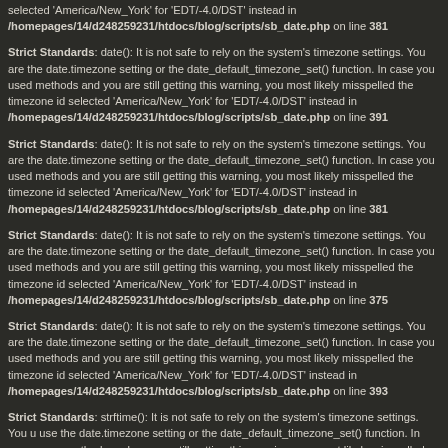selected 'America/New_York' for 'EDT/-4.0/DST' instead in /homepages/14/d248259231/htdocs/blog/scripts/sb_date.php on line 381
Strict Standards: date(): It is not safe to rely on the system's timezone settings. You are the date.timezone setting or the date_default_timezone_set() function. In case you used methods and you are still getting this warning, you most likely misspelled the timezone id selected 'America/New_York' for 'EDT/-4.0/DST' instead in /homepages/14/d248259231/htdocs/blog/scripts/sb_date.php on line 391
Strict Standards: date(): It is not safe to rely on the system's timezone settings. You are the date.timezone setting or the date_default_timezone_set() function. In case you used methods and you are still getting this warning, you most likely misspelled the timezone id selected 'America/New_York' for 'EDT/-4.0/DST' instead in /homepages/14/d248259231/htdocs/blog/scripts/sb_date.php on line 381
Strict Standards: date(): It is not safe to rely on the system's timezone settings. You are the date.timezone setting or the date_default_timezone_set() function. In case you used methods and you are still getting this warning, you most likely misspelled the timezone id selected 'America/New_York' for 'EDT/-4.0/DST' instead in /homepages/14/d248259231/htdocs/blog/scripts/sb_date.php on line 375
Strict Standards: date(): It is not safe to rely on the system's timezone settings. You are the date.timezone setting or the date_default_timezone_set() function. In case you used methods and you are still getting this warning, you most likely misspelled the timezone id selected 'America/New_York' for 'EDT/-4.0/DST' instead in /homepages/14/d248259231/htdocs/blog/scripts/sb_date.php on line 393
Strict Standards: strftime(): It is not safe to rely on the system's timezone settings. You use the date.timezone setting or the date_default_timezone_set() function. In case you u methods and you are still getting this warning, you most likely misspelled the timezone id selected 'America/New_York' for 'EDT/-4.0/DST' instead in /homepages/14/d248259231/htdocs/blog/scripts/sb_date.php on line 370
Strict Standards: date(): It is not safe to rely on the system's timezone settings. You are the date.timezone setting or the date_default_timezone_set() function. In case you used methods and you are still getting this warning, you most likely misspelled the timezone id selected 'America/New_York' for 'EDT/-4.0/DST' instead in /homepages/14/d248259231/htdocs/blog/scripts/sb_date.php on line 387